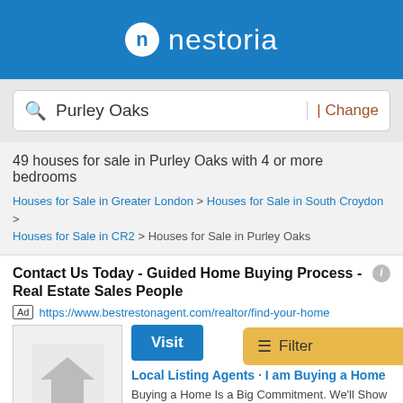nestoria
Purley Oaks | Change
49 houses for sale in Purley Oaks with 4 or more bedrooms
Houses for Sale in Greater London > Houses for Sale in South Croydon > Houses for Sale in CR2 > Houses for Sale in Purley Oaks
Contact Us Today - Guided Home Buying Process - Real Estate Sales People
Ad https://www.bestrestonagent.com/realtor/find-your-home
Visit
Local Listing Agents · I am Buying a Home
Buying a Home Is a Big Commitment. We'll Show You Many Houses for Sale in Reston to Choose. There Are Many Townhouses for Sale in Reston, but Which Coul…
Maryland New Home Builder - K. Hovnanian® Homes - Maryland New Homes For Sale
Ad https://www.khov.com/new-homes/maryland